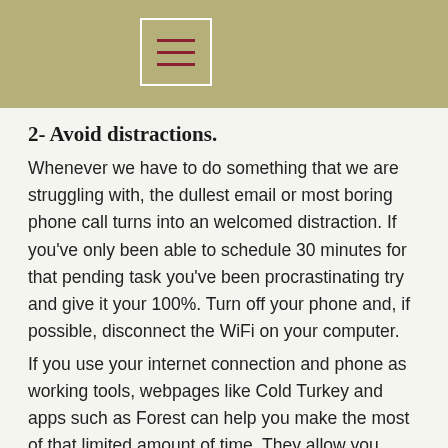[Figure (other): Navigation header bar with hamburger menu icon (three horizontal lines) in a white-bordered box on an olive/khaki green background]
2- Avoid distractions.
Whenever we have to do something that we are struggling with, the dullest email or most boring phone call turns into an welcomed distraction. If you've only been able to schedule 30 minutes for that pending task you've been procrastinating try and give it your 100%. Turn off your phone and, if possible, disconnect the WiFi on your computer.
If you use your internet connection and phone as working tools, webpages like Cold Turkey and apps such as Forest can help you make the most of that limited amount of time. They allow you